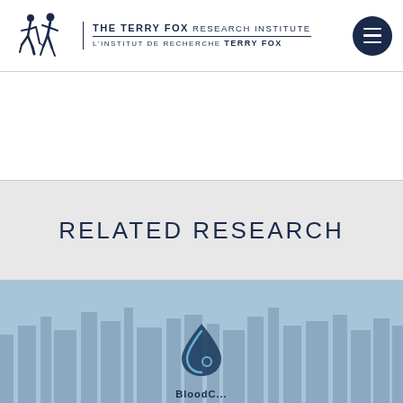[Figure (logo): The Terry Fox Research Institute logo with two running figures and bilingual text: THE TERRY FOX RESEARCH INSTITUTE / L'INSTITUT DE RECHERCHE TERRY FOX, plus dark navy hamburger menu button]
RELATED RESEARCH
[Figure (illustration): Blue-tinted card section with city skyline in background and a water drop icon at bottom, partially cut off text below icon]